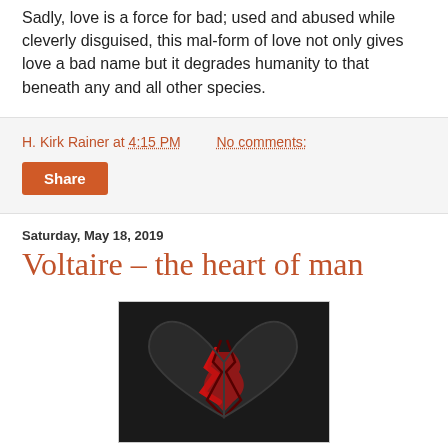Sadly, love is a force for bad; used and abused while cleverly disguised, this mal-form of love not only gives love a bad name but it degrades humanity to that beneath any and all other species.
H. Kirk Rainer at 4:15 PM   No comments:
Share
Saturday, May 18, 2019
Voltaire – the heart of man
[Figure (photo): A broken heart sculpture, metallic dark grey/black exterior cracked open to reveal a vivid red interior, suggesting a shattered heart.]